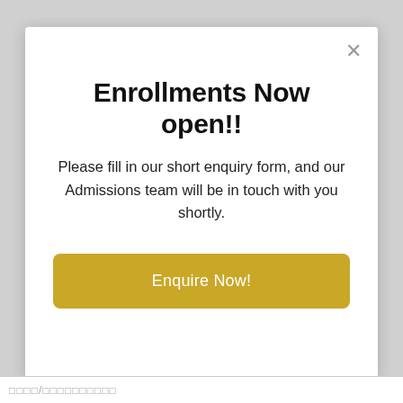Enrollments Now open!!
Please fill in our short enquiry form, and our Admissions team will be in touch with you shortly.
[Figure (other): Gold/yellow call-to-action button labeled 'Enquire Now!']
□□□□/□□□□□□□□□□